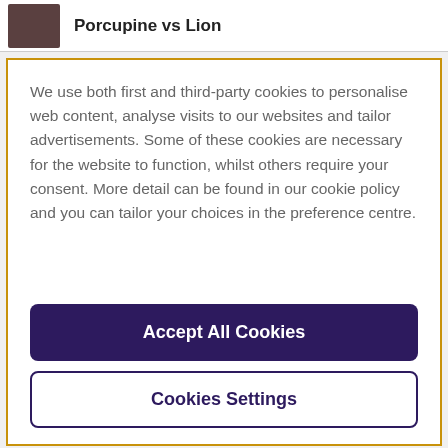Porcupine vs Lion
We use both first and third-party cookies to personalise web content, analyse visits to our websites and tailor advertisements. Some of these cookies are necessary for the website to function, whilst others require your consent. More detail can be found in our cookie policy and you can tailor your choices in the preference centre.
Accept All Cookies
Cookies Settings